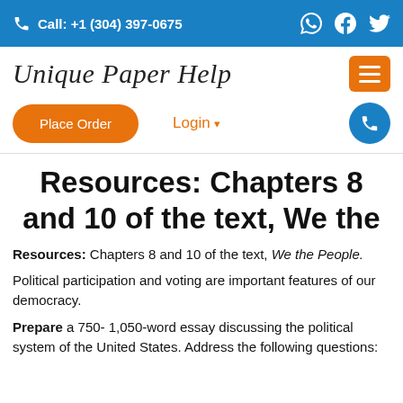Call: +1 (304) 397-0675
[Figure (logo): Unique Paper Help logo in cursive/italic script with orange hamburger menu button]
Place Order  Login  (phone icon)
Resources: Chapters 8 and 10 of the text, We the
Resources: Chapters 8 and 10 of the text, We the People.
Political participation and voting are important features of our democracy.
Prepare a 750- 1,050-word essay discussing the political system of the United States.  Address the following questions: